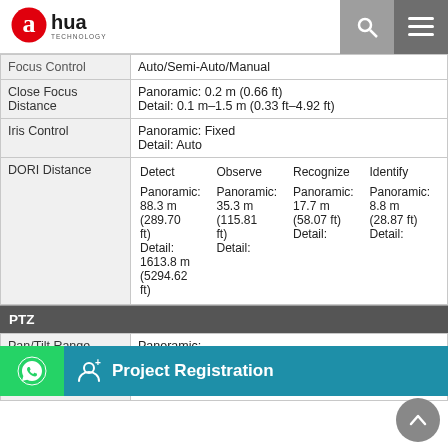Dahua Technology
|  |  |
| --- | --- |
| Focus Control | Auto/Semi-Auto/Manual |
| Close Focus Distance | Panoramic: 0.2 m (0.66 ft)
Detail: 0.1 m–1.5 m (0.33 ft–4.92 ft) |
| Iris Control | Panoramic: Fixed
Detail: Auto |
| DORI Distance | Detect: Panoramic: 88.3 m (289.70 ft) Detail: 1613.8 m (5294.62 ft) | Observe: Panoramic: 35.3 m (115.81 ft) Detail: ... | Recognize: Panoramic: 17.7 m (58.07 ft) Detail: ... | Identify: Panoramic: 8.8 m (28.87 ft) Detail: ... |
PTZ
|  |  |
| --- | --- |
| Pan/Tilt Range | Panoramic:
Pan: 0°–360° endless; Tilt: 0°–30°
Detail:
Pan: 0°–250°; Tilt: -10°–90° |